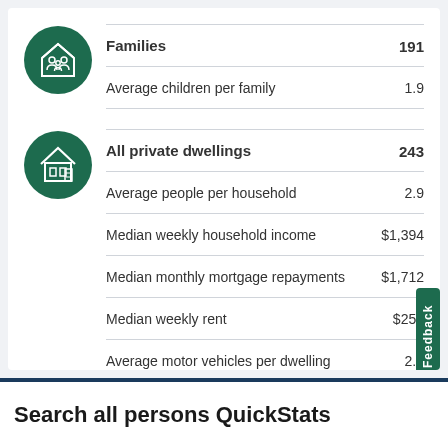| Category | Value |
| --- | --- |
| Families | 191 |
| Average children per family | 1.9 |
| Category | Value |
| --- | --- |
| All private dwellings | 243 |
| Average people per household | 2.9 |
| Median weekly household income | $1,394 |
| Median monthly mortgage repayments | $1,712 |
| Median weekly rent | $250 |
| Average motor vehicles per dwelling | 2.1 |
Search all persons QuickStats